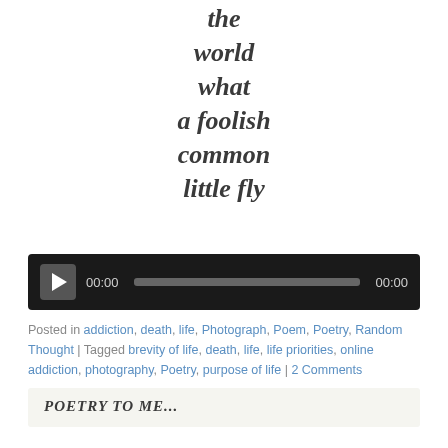the
world
what
a foolish
common
little fly
[Figure (other): Audio player with play button, time display 00:00, progress bar, and end time 00:00 on dark background]
Posted in addiction, death, life, Photograph, Poem, Poetry, Random Thought | Tagged brevity of life, death, life, life priorities, online addiction, photography, Poetry, purpose of life | 2 Comments
POETRY TO ME...